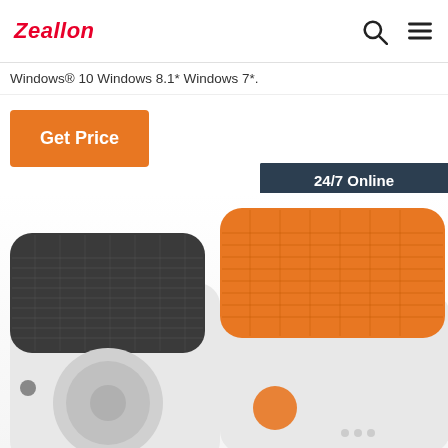Zeallon
Windows® 10 Windows 8.1* Windows 7*.
Get Price
[Figure (photo): Customer service representative with headset, 24/7 Online chat widget with QUOTATION button]
[Figure (photo): Two compact Bluetooth speakers, one with dark mesh top and one with orange mesh top, white bodies]